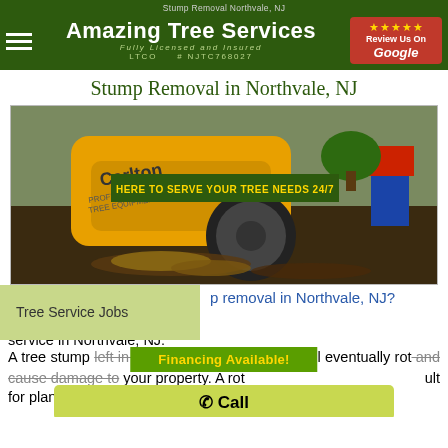Stump Removal Northvale, NJ
Amazing Tree Services
Fully Licensed and Insured
LTCO  # NJTC768027
[Figure (photo): Carlton stump grinder machine in action, grinding a tree stump on a property. A person in red shirt and jeans is visible in the background. Text overlay: HERE TO SERVE YOUR TREE NEEDS 24/7]
Stump Removal in Northvale, NJ
Tree Service Jobs
p removal in Northvale, NJ? provides stump removal service in Northvale, NJ.
Financing Available!
A tree stump left in your property for too long will eventually rot and cause damage to your property. A rot... ult for plants to grow. It can also cause a sinkhole in your
✆ Call